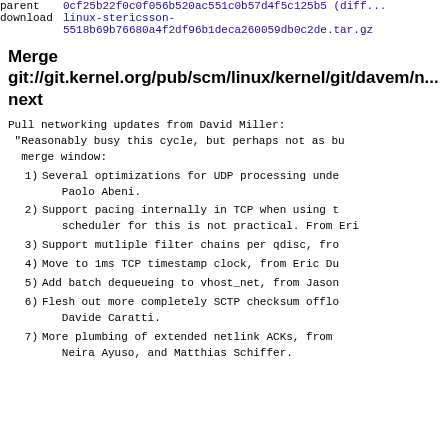| label | value |
| --- | --- |
| parent | 0cf25b22f0c0f056b520ac551c0b57d4f5c125b5 (diff...) |
| download | linux-stericsson-5518b69b76680a4f2df96b1deca260059db0c2de.tar.gz |
Merge git://git.kernel.org/pub/scm/linux/kernel/git/davem/net-next
Pull networking updates from David Miller:
 "Reasonably busy this cycle, but perhaps not as bu
  merge window:
1) Several optimizations for UDP processing unde Paolo Abeni.
2) Support pacing internally in TCP when using t scheduler for this is not practical. From Eri
3) Support mutliple filter chains per qdisc, fro
4) Move to 1ms TCP timestamp clock, from Eric Du
5) Add batch dequeueing to vhost_net, from Jason
6) Flesh out more completely SCTP checksum offlo Davide Caratti.
7) More plumbing of extended netlink ACKs, from Neira Ayuso, and Matthias Schiffer.